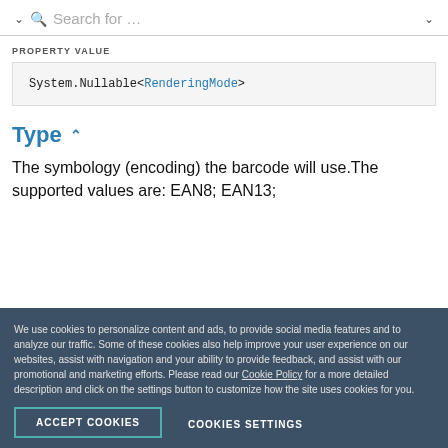Search for …
PROPERTY VALUE
System.Nullable<RenderingMode>
Type
The symbology (encoding) the barcode will use.The supported values are: EAN8; EAN13;
We use cookies to personalize content and ads, to provide social media features and to analyze our traffic. Some of these cookies also help improve your user experience on our websites, assist with navigation and your ability to provide feedback, and assist with our promotional and marketing efforts. Please read our Cookie Policy for a more detailed description and click on the settings button to customize how the site uses cookies for you.
ACCEPT COOKIES   COOKIES SETTINGS